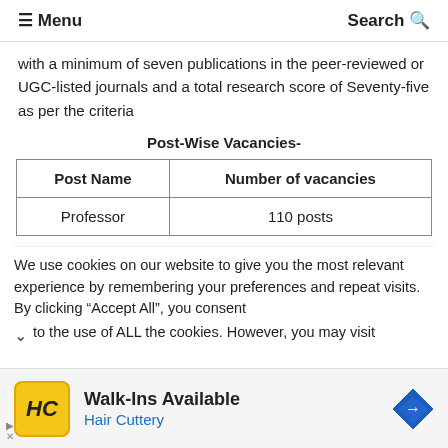≡ Menu    Search Q
with a minimum of seven publications in the peer-reviewed or UGC-listed journals and a total research score of Seventy-five as per the criteria
Post-Wise Vacancies-
| Post Name | Number of vacancies |
| --- | --- |
| Professor | 110 posts |
We use cookies on our website to give you the most relevant experience by remembering your preferences and repeat visits. By clicking "Accept All", you consent to the use of ALL the cookies. However, you may visit
[Figure (infographic): Advertisement banner for Hair Cuttery salon. Yellow square logo with HC monogram, Walk-Ins Available text, Hair Cuttery subtitle in blue, and a blue diamond directional sign icon.]